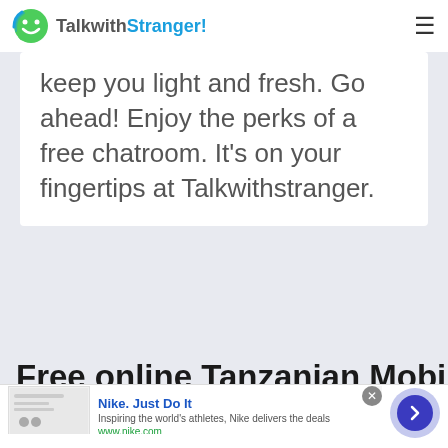TalkwithStranger!
keep you light and fresh. Go ahead! Enjoy the perks of a free chatroom. It's on your fingertips at Talkwithstranger.
Free online Tanzanian Mobile
[Figure (screenshot): Advertisement banner for Nike. Just Do It — showing a thumbnail image on the left, ad headline 'Nike. Just Do It', description 'Inspiring the world's athletes, Nike delivers the deals', URL 'www.nike.com', a close (X) button, and a blue arrow navigation button on the right.]